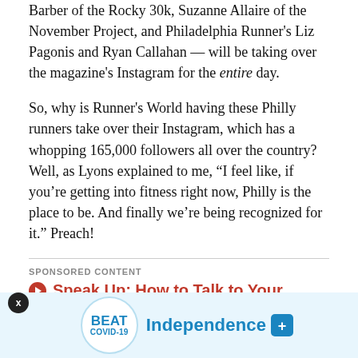Barber of the Rocky 30k, Suzanne Allaire of the November Project, and Philadelphia Runner's Liz Pagonis and Ryan Callahan — will be taking over the magazine's Instagram for the entire day.
So, why is Runner's World having these Philly runners take over their Instagram, which has a whopping 165,000 followers all over the country? Well, as Lyons explained to me, “I feel like, if you’re getting into fitness right now, Philly is the place to be. And finally we’re being recognized for it.” Preach!
SPONSORED CONTENT
Speak Up: How to Talk to Your Loved one About their Addiction
If you want a chance to get in on the action, the group going to kick off their Instagraming at the November
[Figure (infographic): Beat Covid-19 Independence Blue Cross advertisement banner at the bottom of the page]